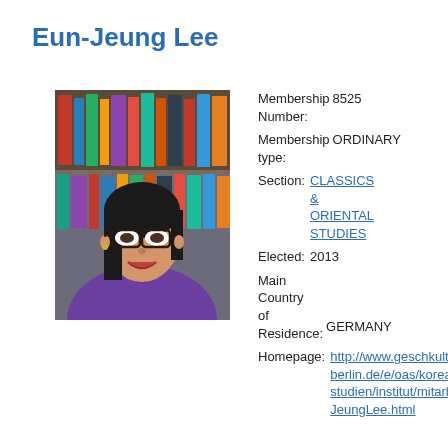Eun-Jeung Lee
[Figure (photo): Portrait photo of Eun-Jeung Lee, a woman with glasses and dark hair, wearing a purple top, with bookshelves in the background.]
Membership Number: 8525
Membership type: ORDINARY
Section: CLASSICS & ORIENTAL STUDIES
Elected: 2013
Main Country of Residence: GERMANY
Homepage: http://www.geschkult.berlin.de/e/oas/korea-studien/institut/mitarbJeungLee.html